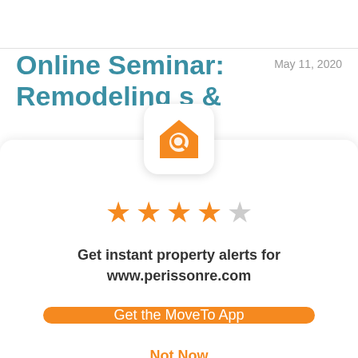Online Seminar: Remodeling s &
May 11, 2020
[Figure (logo): Orange house with magnifying glass app icon on white rounded square background]
[Figure (infographic): 4 filled orange stars and 1 empty/grey star rating]
Get instant property alerts for
www.perissonre.com
Get the MoveTo App
Not Now